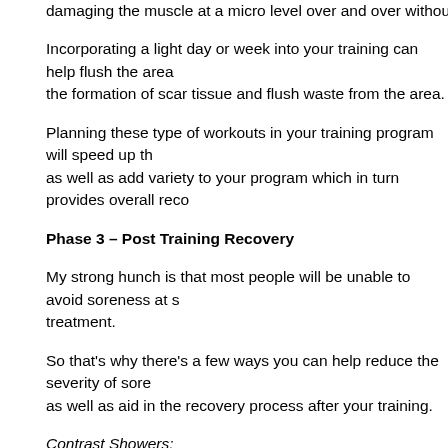damaging the muscle at a micro level over and over without a chance to
Incorporating a light day or week into your training can help flush the area, the formation of scar tissue and flush waste from the area.
Planning these type of workouts in your training program will speed up the as well as add variety to your program which in turn provides overall reco
Phase 3 – Post Training Recovery
My strong hunch is that most people will be unable to avoid soreness at s treatment.
So that's why there's a few ways you can help reduce the severity of sore as well as aid in the recovery process after your training.
Contrast Showers:
Done on your lumbar area, this involves using short bursts of hot and col circulation. You can further stretch during this time to flush new blood to t
Post Workout Nutrition:
Needless to say…
After your workout your body is in a prime time to devour nutrients. This i the nutrients with the carbohydrates from